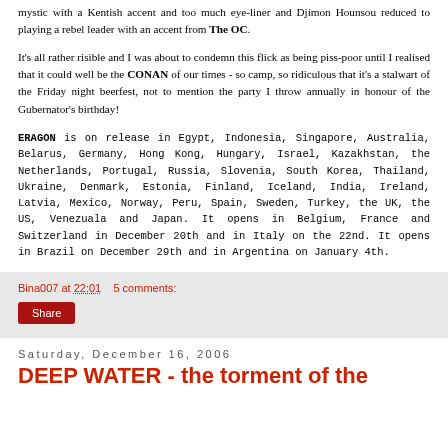mystic with a Kentish accent and too much eye-liner and Djimon Hounsou reduced to playing a rebel leader with an accent from The OC.
It's all rather risible and I was about to condemn this flick as being piss-poor until I realised that it could well be the CONAN of our times - so camp, so ridiculous that it's a stalwart of the Friday night beerfest, not to mention the party I throw annually in honour of the Gubernator's birthday!
ERAGON is on release in Egypt, Indonesia, Singapore, Australia, Belarus, Germany, Hong Kong, Hungary, Israel, Kazakhstan, the Netherlands, Portugal, Russia, Slovenia, South Korea, Thailand, Ukraine, Denmark, Estonia, Finland, Iceland, India, Ireland, Latvia, Mexico, Norway, Peru, Spain, Sweden, Turkey, the UK, the US, Venezuala and Japan. It opens in Belgium, France and Switzerland in December 20th and in Italy on the 22nd. It opens in Brazil on December 29th and in Argentina on January 4th.
Bina007 at 22:01    5 comments:
Share
Saturday, December 16, 2006
DEEP WATER - the torment of the